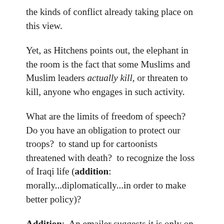the kinds of conflict already taking place on this view.
Yet, as Hitchens points out, the elephant in the room is the fact that some Muslims and Muslim leaders actually kill, or threaten to kill, anyone who engages in such activity.
What are the limits of freedom of speech?  Do you have an obligation to protect our troops?  to stand up for cartoonists threatened with death?  to recognize the loss of Iraqi life (addition: morally...diplomatically...in order to make better policy)?
Addition:  An emailer suggests it is only on the back of extreme multiculturalism and diversity and on the European Left and the far American Left that such ideas get any traction.  Muslims are a small minority in the